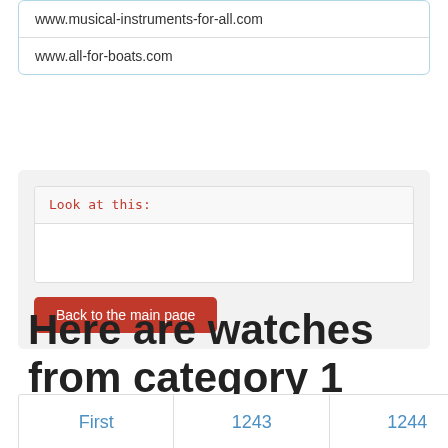www.musical-instruments-for-all.com
www.all-for-boats.com
Look at this:
[Figure (screenshot): White empty input/text area below 'Look at this:' label]
Back to the main page
Here are watches from category 1
First | 1243 | 1244 | 1245 | 1246